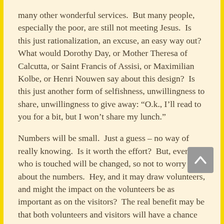many other wonderful services.  But many people, especially the poor, are still not meeting Jesus.  Is this just rationalization, an excuse, an easy way out?  What would Dorothy Day, or Mother Theresa of Calcutta, or Saint Francis of Assisi, or Maximilian Kolbe, or Henri Nouwen say about this design?  Is this just another form of selfishness, unwillingness to share, unwillingness to give away: “O.k., I’ll read to you for a bit, but I won’t share my lunch.”
Numbers will be small.  Just a guess – no way of really knowing.  Is it worth the effort?  But, everyone who is touched will be changed, so not to worry about the numbers.  Hey, and it may draw volunteers, and might the impact on the volunteers be as important as on the visitors?  The real benefit may be that both volunteers and visitors will have a chance to meet people they would not otherwise